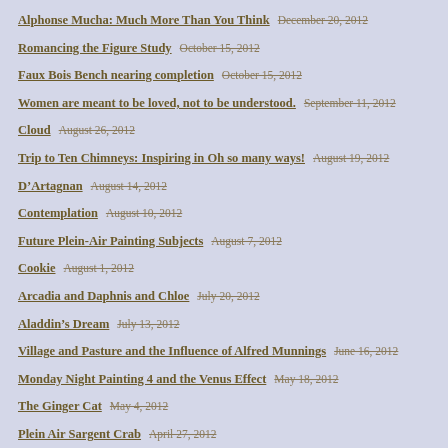Alphonse Mucha: Much More Than You Think   December 20, 2012
Romancing the Figure Study   October 15, 2012
Faux Bois Bench nearing completion   October 15, 2012
Women are meant to be loved, not to be understood.   September 11, 2012
Cloud   August 26, 2012
Trip to Ten Chimneys: Inspiring in Oh so many ways!   August 19, 2012
D’Artagnan   August 14, 2012
Contemplation   August 10, 2012
Future Plein-Air Painting Subjects   August 7, 2012
Cookie   August 1, 2012
Arcadia and Daphnis and Chloe   July 20, 2012
Aladdin’s Dream   July 13, 2012
Village and Pasture and the Influence of Alfred Munnings   June 16, 2012
Monday Night Painting 4 and the Venus Effect   May 18, 2012
The Ginger Cat   May 4, 2012
Plein Air Sargent Crab   April 27, 2012